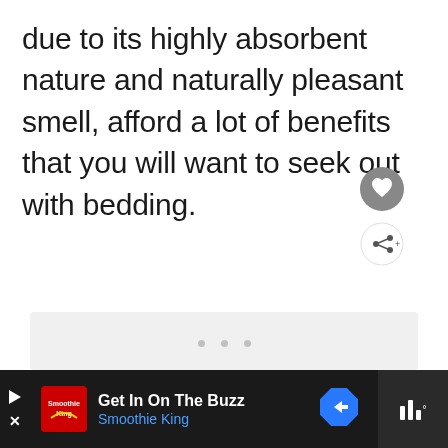due to its highly absorbent nature and naturally pleasant smell, afford a lot of benefits that you will want to seek out with bedding.
[Figure (screenshot): A light gray placeholder content box with three small gray dots at the top center, indicating a loading or advertisement area. A heart (favorite) button and a share button are visible on the right side.]
[Figure (screenshot): Bottom advertisement bar with black background. Shows a play button, Smoothie King logo, text 'Get In On The Buzz' and 'Smoothie King' in blue, a blue diamond navigation arrow, and a music/audio icon with bars on the right side in dark gray.]